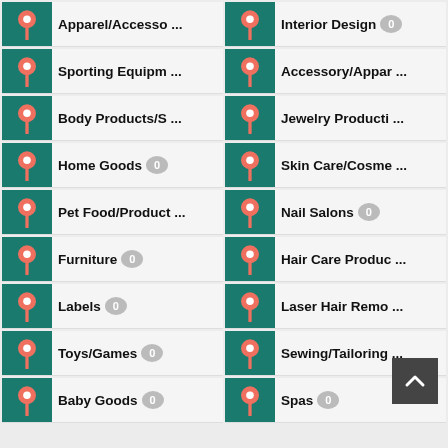Apparel/Accesso...
Interior Design 0
Sporting Equipm...
Accessory/Appar...
Body Products/S...
Jewelry Producti...
Home Goods 0
Skin Care/Cosme...
Pet Food/Product...
Nail Salons 0
Furniture 0
Hair Care Produc...
Labels 0
Laser Hair Remo...
Toys/Games 0
Sewing/Tailoring ...
Baby Goods 0
Spas 0